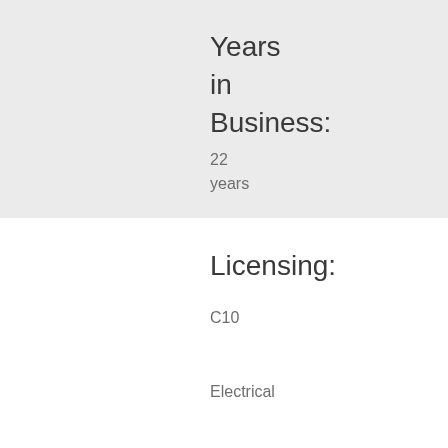Years in Business:
22 years
Licensing:
C10

Electrical

B